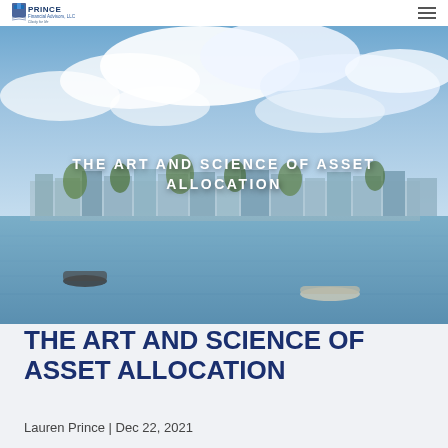Prince Financial Advisors, LLC - Clarity for life
[Figure (photo): Coastal harbor scene with boats on calm water, waterfront houses and buildings in the background under a partly cloudy sky]
THE ART AND SCIENCE OF ASSET ALLOCATION
THE ART AND SCIENCE OF ASSET ALLOCATION
Lauren Prince | Dec 22, 2021